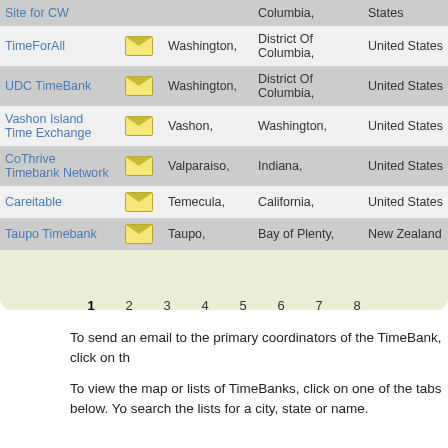| Name |  | City | State/Region | Country | # |
| --- | --- | --- | --- | --- | --- |
| Site for CW |  |  | Columbia, | States |  |
| TimeForAll | ✉ | Washington, | District Of Columbia, | United States | 1 |
| UDC TimeBank | ✉ | Washington, | District Of Columbia, | United States | 4 |
| Vashon Island Time Exchange | ✉ | Vashon, | Washington, | United States | 1 |
| CoThrive Timebank Network | ✉ | Valparaiso, | Indiana, | United States | 1 |
| Careitable | ✉ | Temecula, | California, | United States | 2 |
| Taupo Timebank | ✉ | Taupo, | Bay of Plenty, | New Zealand | 3 |
1  2  3  4  5  6  7  8
To send an email to the primary coordinators of the TimeBank, click on th
To view the map or lists of TimeBanks, click on one of the tabs below. Yo search the lists for a city, state or name.